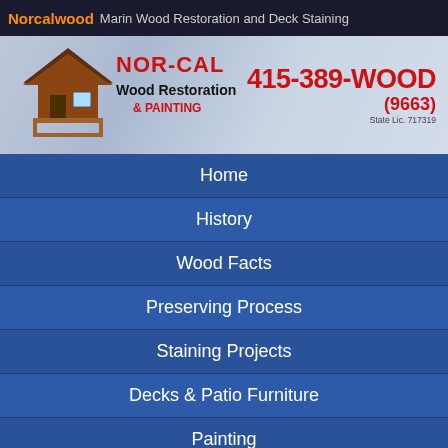Norcalwood  Marin Wood Restoration and Deck Staining
[Figure (logo): NOR-CAL Wood Restoration & Painting logo with house graphic on blue/grey gradient background, phone number 415-389-WOOD (9663), State Lic. 717319]
Home
History
Wood Facts
Preserving Process
Staining Projects
Decks & Patio Furniture
Painting
Photo Galleries
Testimonials
Preferred Products